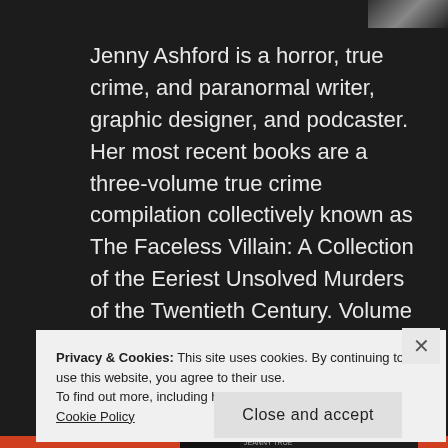[Figure (photo): Partial author photo in top-right corner, cropped, dark tones]
Jenny Ashford is a horror, true crime, and paranormal writer, graphic designer, and podcaster. Her most recent books are a three-volume true crime compilation collectively known as The Faceless Villain: A Collection of the Eeriest Unsolved Murders of the Twentieth Century. Volume One was published in 2017, Volume Two in 2018, and
Privacy & Cookies: This site uses cookies. By continuing to use this website, you agree to their use.
To find out more, including how to control cookies, see here: Cookie Policy
Close and accept